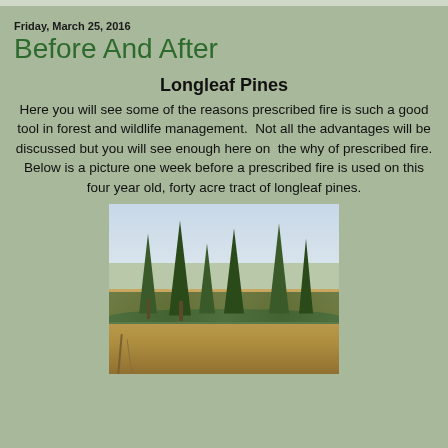Friday, March 25, 2016
Before And After
Longleaf Pines
Here you will see some of the reasons prescribed fire is such a good tool in forest and wildlife management.  Not all the advantages will be discussed but you will see enough here on  the why of prescribed fire.
Below is a picture one week before a prescribed fire is used on this four year old, forty acre tract of longleaf pines.
[Figure (photo): Photo of young longleaf pine trees in a field of dry brown grass, with dense green pine trees in the background and a cloudy sky above, taken one week before a prescribed fire.]